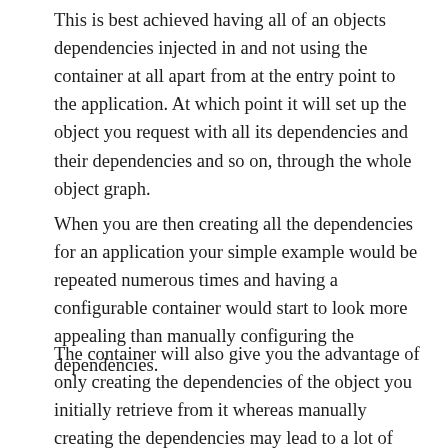This is best achieved having all of an objects dependencies injected in and not using the container at all apart from at the entry point to the application. At which point it will set up the object you request with all its dependencies and their dependencies and so on, through the whole object graph.
When you are then creating all the dependencies for an application your simple example would be repeated numerous times and having a configurable container would start to look more appealing than manually configuring the dependencies.
The container will also give you the advantage of only creating the dependencies of the object you initially retrieve from it whereas manually creating the dependencies may lead to a lot of unnecessary object